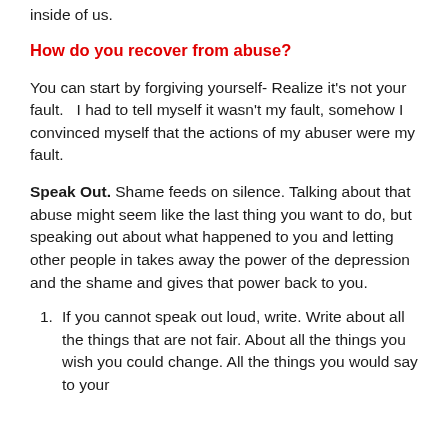inside of us.
How do you recover from abuse?
You can start by forgiving yourself- Realize it’s not your fault.   I had to tell myself it wasn’t my fault, somehow I convinced myself that the actions of my abuser were my fault.
Speak Out. Shame feeds on silence. Talking about that abuse might seem like the last thing you want to do, but speaking out about what happened to you and letting other people in takes away the power of the depression and the shame and gives that power back to you.
If you cannot speak out loud, write. Write about all the things that are not fair. About all the things you wish you could change. All the things you would say to your